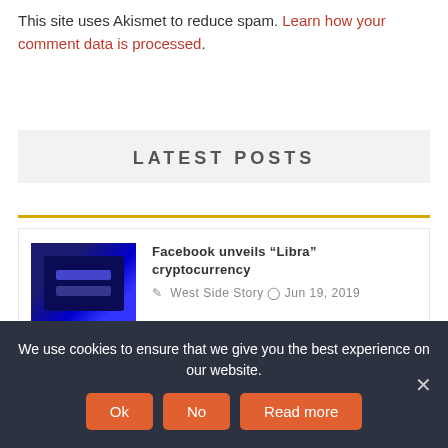This site uses Akismet to reduce spam. Learn how your comment data is processed.
LATEST POSTS
Facebook unveils “Libra” cryptocurrency — West Side Story • Jun 19, 2019
Hong Kong protesters want autonomy, half-measures won’t send them home
We use cookies to ensure that we give you the best experience on our website.